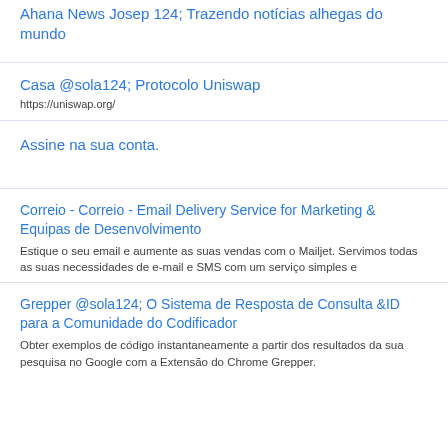Ahana News Josep 124; Trazendo notícias alhegas do mundo
Casa @sola124; Protocolo Uniswap
https://uniswap.org/
Assine na sua conta.
Correio - Correio - Email Delivery Service for Marketing & Equipas de Desenvolvimento
Estique o seu email e aumente as suas vendas com o Mailjet. Servimos todas as suas necessidades de e-mail e SMS com um serviço simples e
Grepper @sola124; O Sistema de Resposta de Consulta &ID para a Comunidade do Codificador
Obter exemplos de código instantaneamente a partir dos resultados da sua pesquisa no Google com a Extensão do Chrome Grepper.